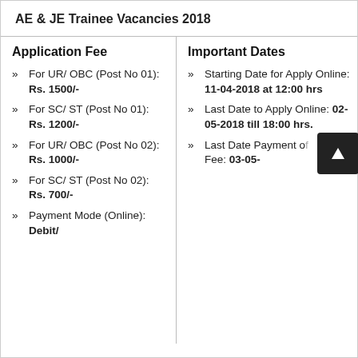AE & JE Trainee Vacancies 2018
Application Fee
For UR/ OBC (Post No 01): Rs. 1500/-
For SC/ ST (Post No 01): Rs. 1200/-
For UR/ OBC (Post No 02): Rs. 1000/-
For SC/ ST (Post No 02): Rs. 700/-
Payment Mode (Online): Debit/
Important Dates
Starting Date for Apply Online: 11-04-2018 at 12:00 hrs
Last Date to Apply Online: 02-05-2018 till 18:00 hrs.
Last Date Payment of Fee: 03-05-